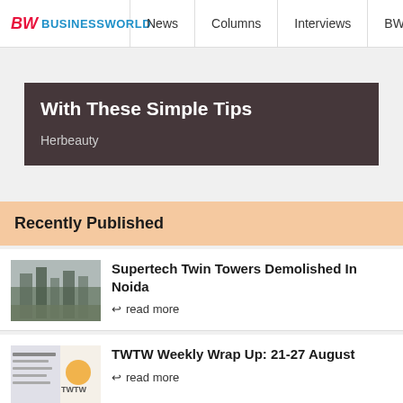BW BUSINESSWORLD | News | Columns | Interviews | BW
With These Simple Tips
Herbeauty
Recently Published
Supertech Twin Towers Demolished In Noida
read more
TWTW Weekly Wrap Up: 21-27 August
read more
Supreme Court Live Streams On Last Working Day Of CJI NV Ramana